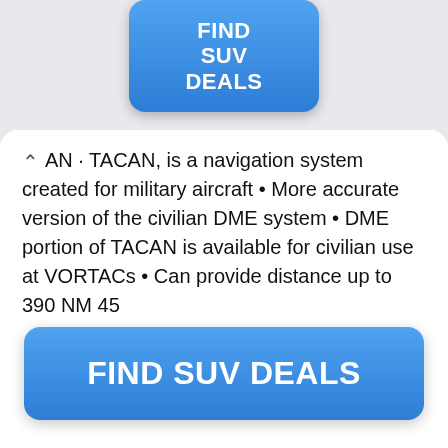[Figure (other): Blue rounded square button with white bold text reading FIND SUV DEALS, positioned at the top center of the page, partially overlapping the white card below.]
AN · TACAN, is a navigation system created for military aircraft • More accurate version of the civilian DME system • DME portion of TACAN is available for civilian use at VORTACs • Can provide distance up to 390 NM 45
[Figure (other): Large blue rounded rectangle button with white bold text reading FIND SUV DEALS, positioned at the bottom of the white card.]